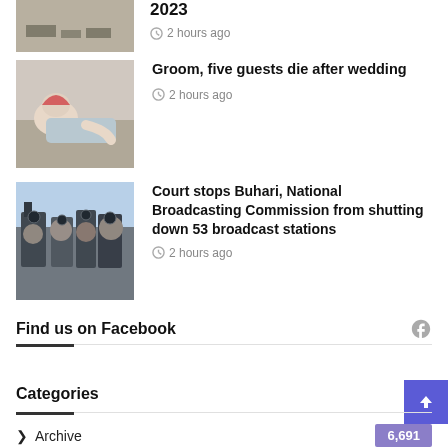[Figure (photo): Photo partially visible at top - money/cash image]
2023
2 hours ago
[Figure (photo): Person lying on couch/sofa]
Groom, five guests die after wedding
2 hours ago
[Figure (photo): Crowd of journalists/photographers with cameras]
Court stops Buhari, National Broadcasting Commission from shutting down 53 broadcast stations
2 hours ago
Find us on Facebook
Categories
Archive 6,691